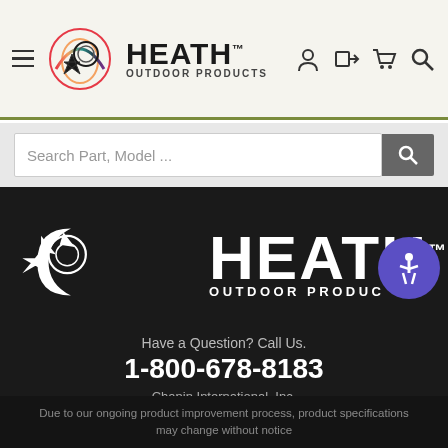Heath Outdoor Products — navigation header with logo and icons
Search Part, Model ...
[Figure (logo): Heath Outdoor Products large white logo on dark background with colorful bird icon]
Have a Question? Call Us.
1-800-678-8183
Chapin International, Inc.
Due to our ongoing product improvement process, product specifications may change without notice